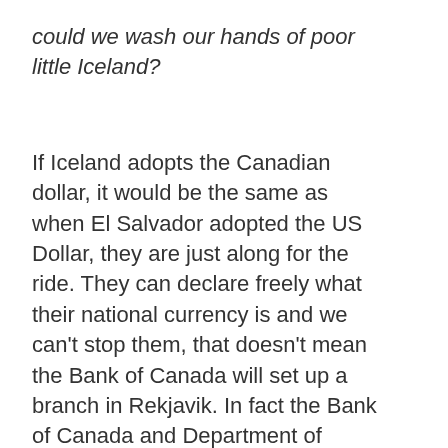could we wash our hands of poor little Iceland?
If Iceland adopts the Canadian dollar, it would be the same as when El Salvador adopted the US Dollar, they are just along for the ride. They can declare freely what their national currency is and we can't stop them, that doesn't mean the Bank of Canada will set up a branch in Rekjavik. In fact the Bank of Canada and Department of Finance have practically said that in fact no such branch will be set up. Icelandic banks won't be eligible to Bank of Canada